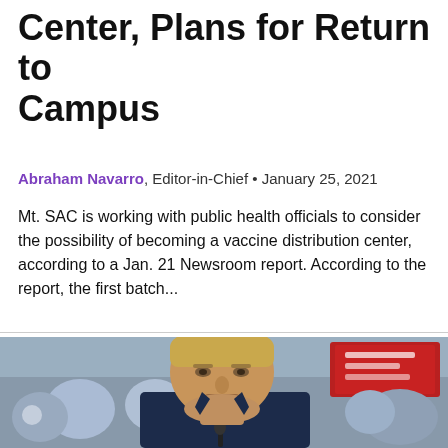Center, Plans for Return to Campus
Abraham Navarro, Editor-in-Chief • January 25, 2021
Mt. SAC is working with public health officials to consider the possibility of becoming a vaccine distribution center, according to a Jan. 21 Newsroom report. According to the report, the first batch...
[Figure (photo): A man in a dark suit and red-striped tie speaking at a microphone, with a crowd visible in the blurred background holding red signs.]